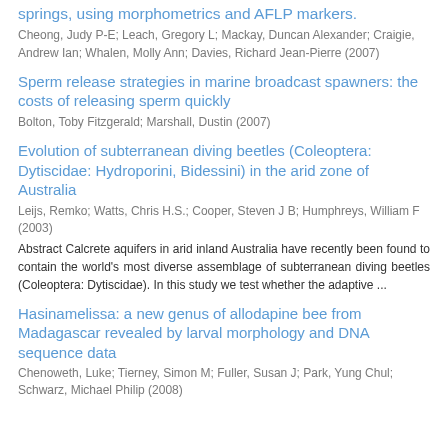springs, using morphometrics and AFLP markers.
Cheong, Judy P-E; Leach, Gregory L; Mackay, Duncan Alexander; Craigie, Andrew Ian; Whalen, Molly Ann; Davies, Richard Jean-Pierre (2007)
Sperm release strategies in marine broadcast spawners: the costs of releasing sperm quickly
Bolton, Toby Fitzgerald; Marshall, Dustin (2007)
Evolution of subterranean diving beetles (Coleoptera: Dytiscidae: Hydroporini, Bidessini) in the arid zone of Australia
Leijs, Remko; Watts, Chris H.S.; Cooper, Steven J B; Humphreys, William F (2003)
Abstract Calcrete aquifers in arid inland Australia have recently been found to contain the world's most diverse assemblage of subterranean diving beetles (Coleoptera: Dytiscidae). In this study we test whether the adaptive ...
Hasinamelissa: a new genus of allodapine bee from Madagascar revealed by larval morphology and DNA sequence data
Chenoweth, Luke; Tierney, Simon M; Fuller, Susan J; Park, Yung Chul; Schwarz, Michael Philip (2008)